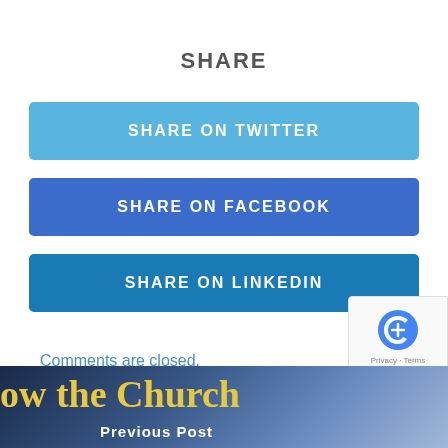SHARE
SHARE ON TWITTER
SHARE ON FACEBOOK
SHARE ON LINKEDIN
Comments are closed.
ow the Church  Previous Post